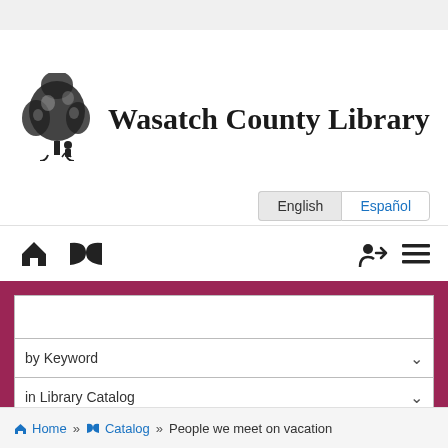[Figure (logo): Wasatch County Library logo: a tree with a person reading beneath it, in black ink]
Wasatch County Library
English | Español
[Figure (screenshot): Navigation icon bar with home icon, open book icon, login arrow icon, and hamburger menu icon]
[Figure (screenshot): Search bar with magnifying glass icon and empty text input]
by Keyword
in Library Catalog
Search
Home » Catalog » People we meet on vacation